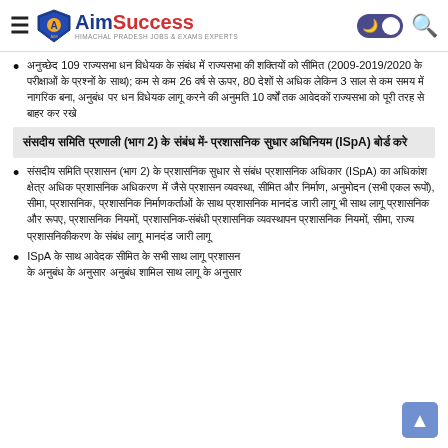AimSuccess - Himachal Pradesh Jobs & Exams Experts
अनुच्छेद 109 राज्यसभा धन विधेयक के संबंध में राज्यसभा की शक्तियों को सीमित (2009-2019/2020 के परीक्षाओं के प्रश्नों के साथ); कम से कम 26 वर्ष से ऊपर, 80 देशों से अधिक लेकिन 3 साल से कम समय में नागरिक बना, अनुबंध पर धन विधेयक लागू करने की अनुमति 10 वर्षों तक आवेदकों राज्यसभा को पूरी तरह से बाहर कर रखे
संसदीय समिति प्रणाली (भाग 2) के संबंध में- प्रशासनिक सुधार अधिनियम (ISpA) बोर्ड करे
संसदीय समिति प्रशासन (भाग 2) के प्रशासनिक सुधार से संबंध प्रशासनिक अधिकार (ISpA) का अधिकांश क्षेत्र अधिक प्रशासनिक अधिकरण में जैसे प्रशासन व्यवस्था, सीमित और निर्माण, अनुमोदन (सभी एकल रूपों), सीमा, प्रशासनिक, प्रशासनिक निर्माणकर्ताओं के साथ प्रशासनिक मानदंड जारी लागू भी साथ लागू प्रशासनिक और रूपए, प्रशासनिक नियमों, प्रशासनिक-संबंधी प्रशासनिक व्यवस्थापन प्रशासनिक नियमों, सीमा, राज्य प्रशासनिकीकरण के संबंध लागू मानदंड जारी लागू
ISpA के साथ आवेदक सीमित के सभी साथ लागू प्रशासन के अनुबंध के अनुसार अनुबंध शामिल